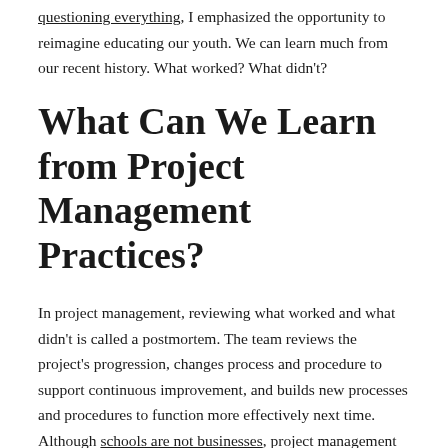questioning everything, I emphasized the opportunity to reimagine educating our youth. We can learn much from our recent history. What worked? What didn't?
What Can We Learn from Project Management Practices?
In project management, reviewing what worked and what didn't is called a postmortem. The team reviews the project's progression, changes process and procedure to support continuous improvement, and builds new processes and procedures to function more effectively next time. Although schools are not businesses, project management principles are so logical and